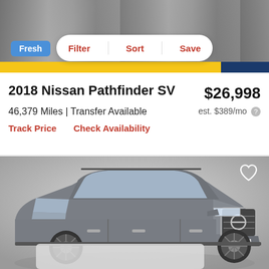[Figure (screenshot): Top portion of a car listing app/website showing a partial car thumbnail at the top, a white pill-shaped filter bar with Filter, Sort, Save buttons, a blue Fresh badge, and yellow/navy color bands.]
2018 Nissan Pathfinder SV
$26,998
46,379 Miles | Transfer Available
est. $389/mo
Track Price   Check Availability
[Figure (photo): Photo of a gray 2018 Nissan Pathfinder SV SUV shown in a studio setting, three-quarter front view, with a license plate reading BW69322.]